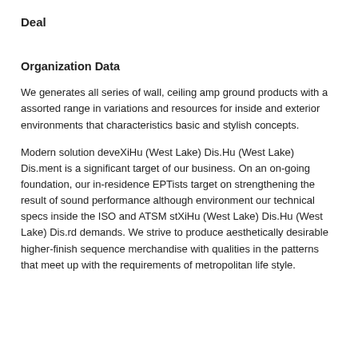Deal
Organization Data
We generates all series of wall, ceiling amp ground products with a assorted range in variations and resources for inside and exterior environments that characteristics basic and stylish concepts.
Modern solution deveXiHu (West Lake) Dis.Hu (West Lake) Dis.ment is a significant target of our business. On an on-going foundation, our in-residence EPTists target on strengthening the result of sound performance although environment our technical specs inside the ISO and ATSM stXiHu (West Lake) Dis.Hu (West Lake) Dis.rd demands. We strive to produce aesthetically desirable higher-finish sequence merchandise with qualities in the patterns that meet up with the requirements of metropolitan life style.